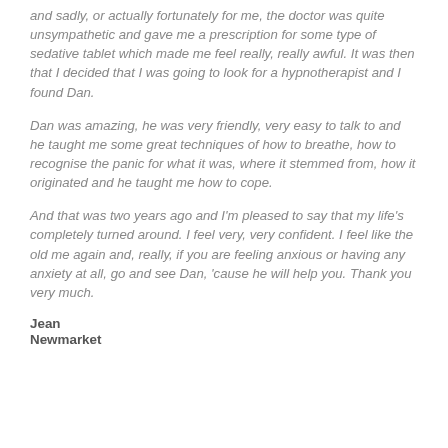and sadly, or actually fortunately for me, the doctor was quite unsympathetic and gave me a prescription for some type of sedative tablet which made me feel really, really awful. It was then that I decided that I was going to look for a hypnotherapist and I found Dan.
Dan was amazing, he was very friendly, very easy to talk to and he taught me some great techniques of how to breathe, how to recognise the panic for what it was, where it stemmed from, how it originated and he taught me how to cope.
And that was two years ago and I'm pleased to say that my life's completely turned around. I feel very, very confident. I feel like the old me again and, really, if you are feeling anxious or having any anxiety at all, go and see Dan, 'cause he will help you. Thank you very much.
Jean
Newmarket